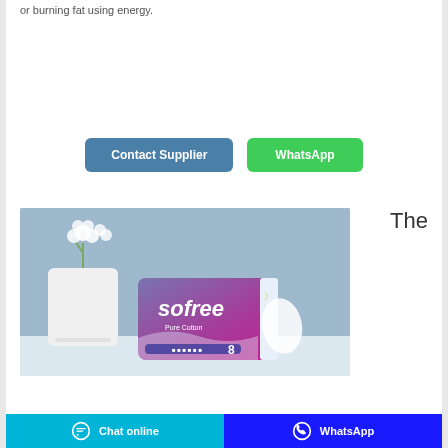or burning fat using energy.
[Figure (photo): Product photo of Sofree Pure Cotton sanitary pads packaging with a white flower vase on a blue-grey background]
The
Chat online   WhatsApp